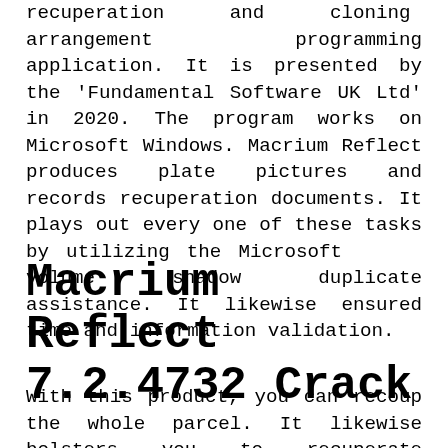recuperation and cloning arrangement programming application. It is presented by the 'Fundamental Software UK Ltd' in 2020. The program works on Microsoft Windows. Macrium Reflect produces plate pictures and records recuperation documents. It plays out every one of these tasks by utilizing the Microsoft volume shadow duplicate assistance. It likewise ensured time and information validation.
Macrium Reflect 7.2.4732 Crack
With this product, you can recoup the whole parcel. It likewise bolsters you to recuperate individually, document and organizers in a